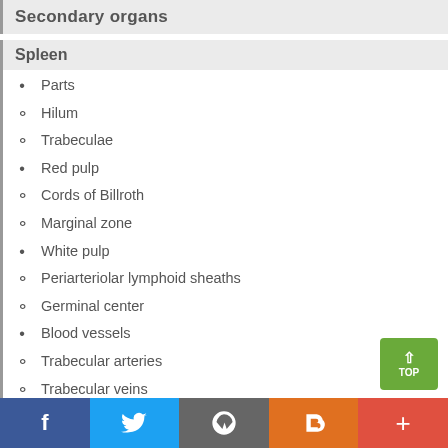Secondary organs
Spleen
Parts
Hilum
Trabeculae
Red pulp
Cords of Billroth
Marginal zone
White pulp
Periarteriolar lymphoid sheaths
Germinal center
Blood vessels
Trabecular arteries
Trabecular veins
Tonsils
Palatine
f  Twitter  WordPress  Blogger  +